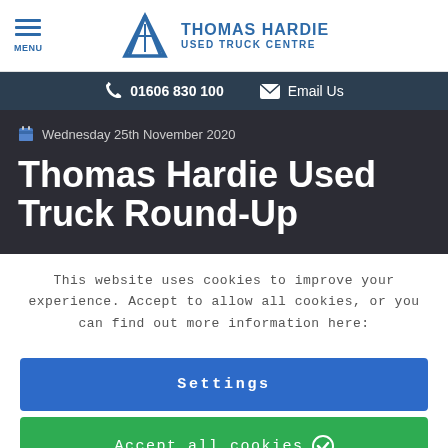THOMAS HARDIE USED TRUCK CENTRE
01606 830 100  Email Us
Wednesday 25th November 2020
Thomas Hardie Used Truck Round-Up
This website uses cookies to improve your experience. Accept to allow all cookies, or you can find out more information here:
Settings
Accept all cookies